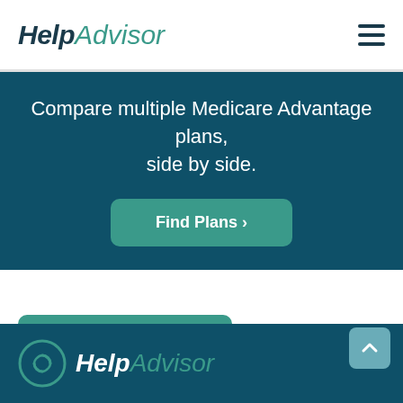HelpAdvisor
Compare multiple Medicare Advantage plans, side by side.
Find Plans >
Back to Plans in Indiana >
HelpAdvisor